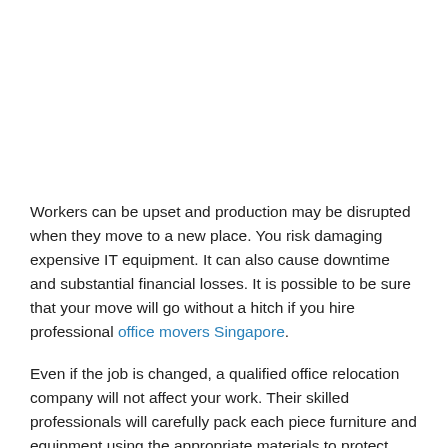Workers can be upset and production may be disrupted when they move to a new place. You risk damaging expensive IT equipment. It can also cause downtime and substantial financial losses. It is possible to be sure that your move will go without a hitch if you hire professional office movers Singapore.
Even if the job is changed, a qualified office relocation company will not affect your work. Their skilled professionals will carefully pack each piece furniture and equipment using the appropriate materials to protect their items. They will use extra care when handling fragile objects and wrap them securely to stop them from falling during unloading and loading. The office movers Singapore will take a detailed list to ensure that everything is transferred to the correct